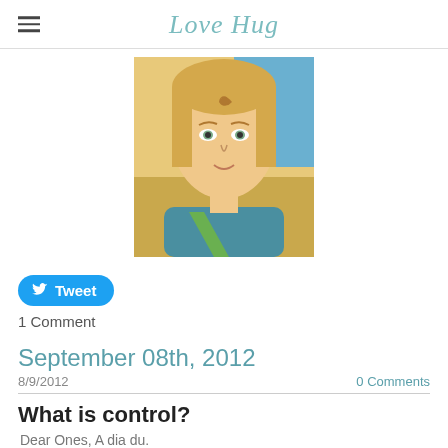Love Hug
[Figure (illustration): Illustrated portrait of a fair-haired, androgynous spiritual figure with a swirl marking on forehead, wearing teal clothing, against a warm background.]
Tweet
1 Comment
September 08th, 2012
8/9/2012
0 Comments
What is control?
Dear Ones,  A dia du.